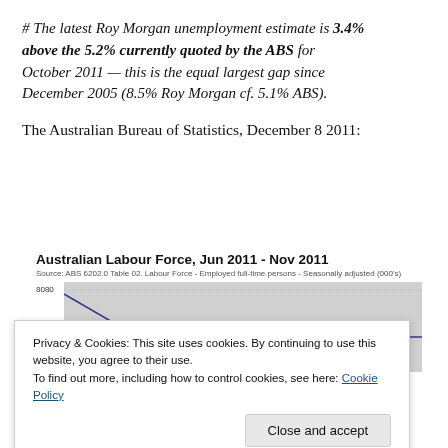# The latest Roy Morgan unemployment estimate is 3.4% above the 5.2% currently quoted by the ABS for October 2011 — this is the equal largest gap since December 2005 (8.5% Roy Morgan cf. 5.1% ABS).
The Australian Bureau of Statistics, December 8 2011:
[Figure (continuous-plot): Line chart showing Australian Labour Force data from Jun 2011 to Nov 2011. Source: ABS 6202.0 Table 02. Labour Force - Employed full-time persons - Seasonally adjusted (000's). Y-axis starts at 8080, showing a declining then partial recovery trend.]
Privacy & Cookies: This site uses cookies. By continuing to use this website, you agree to their use.
To find out more, including how to control cookies, see here: Cookie Policy